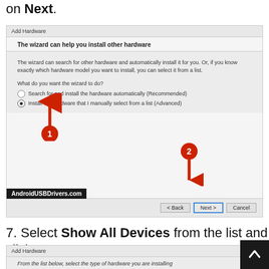on Next.
[Figure (screenshot): Windows Add Hardware wizard dialog showing two radio options: 'Search for and install the hardware automatically (Recommended)' and 'Install the hardware that I manually select from a list (Advanced)' with the second option selected. Annotated with red arrows labeled 1 and 2 pointing to the selected radio button and the Next button respectively. AndroidUSBDrivers.com watermark at the bottom left.]
7. Select Show All Devices from the list and click on Next.
[Figure (screenshot): Windows Add Hardware wizard dialog showing 'From the list below, select the type of hardware you are installing']